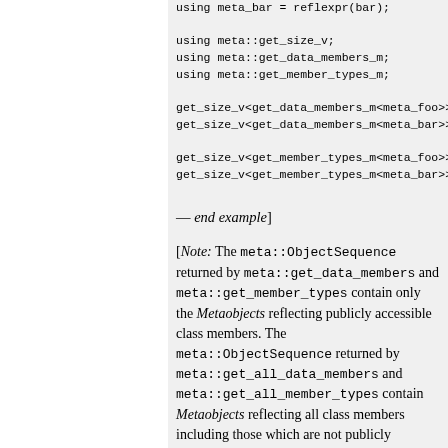using meta_bar = reflexpr(bar);

using meta::get_size_v;
using meta::get_data_members_m;
using meta::get_member_types_m;

get_size_v<get_data_members_m<meta_foo>> // 4
get_size_v<get_data_members_m<meta_bar>> // 2

get_size_v<get_member_types_m<meta_foo>> // 1
get_size_v<get_member_types_m<meta_bar>> // 0
— end example]
[Note: The meta::ObjectSequence returned by meta::get_data_members and meta::get_member_types contain only the Metaobjects reflecting publicly accessible class members. The meta::ObjectSequence returned by meta::get_all_data_members and meta::get_all_member_types contain Metaobjects reflecting all class members including those which are not publicly accessible otherwise. — end note]
[Example: